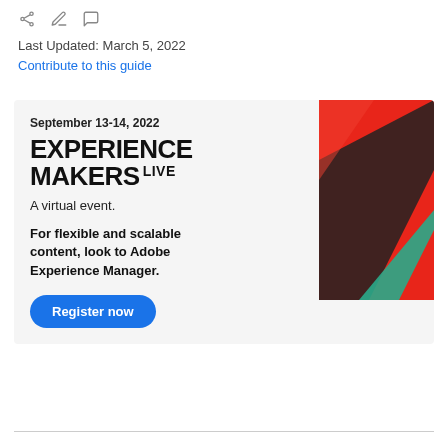Last Updated: March 5, 2022
Contribute to this guide
[Figure (infographic): Experience Makers Live advertisement card. September 13-14, 2022. EXPERIENCE MAKERS LIVE. A virtual event. For flexible and scalable content, look to Adobe Experience Manager. Register now button. Red geometric graphic on right side.]